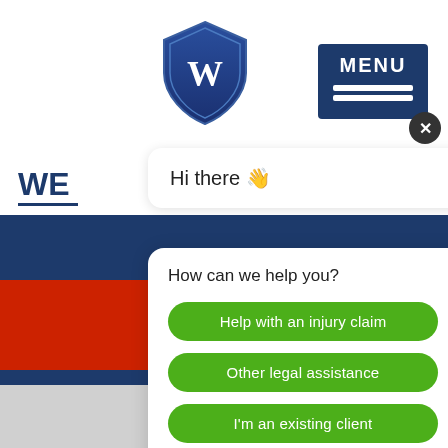[Figure (screenshot): Website header with blue shield logo containing letter W, and MENU button with hamburger lines on dark blue background]
WE
Hi there 👋
How can we help you?
Help with an injury claim
Other legal assistance
I'm an existing client
[Figure (photo): Woman smiling, avatar for chat agent with green online indicator dot and red notification badge showing 1]
[Figure (illustration): Red mobile phone icon]
[Figure (logo): Google reCAPTCHA logo with Privacy and Terms links]